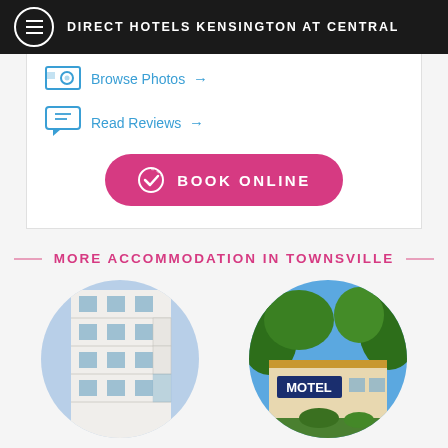DIRECT HOTELS KENSINGTON AT CENTRAL
Browse Photos →
Read Reviews →
BOOK ONLINE
MORE ACCOMMODATION IN TOWNSVILLE
[Figure (photo): Circular photo of a modern white apartment building with balconies, viewed from below]
[Figure (photo): Circular photo of a motel with a sign reading MOTEL, surrounded by trees and blue sky]